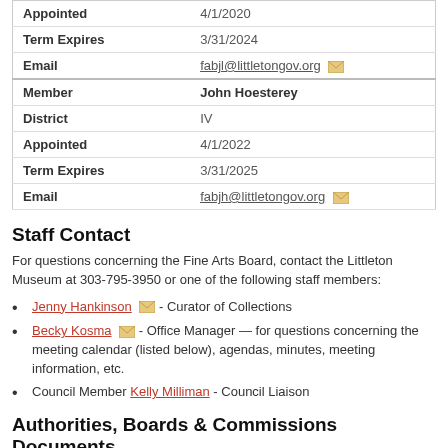| Field | Value |
| --- | --- |
| Appointed | 4/1/2020 |
| Term Expires | 3/31/2024 |
| Email | fabjl@littletongov.org |
| Member | John Hoesterey |
| District | IV |
| Appointed | 4/1/2022 |
| Term Expires | 3/31/2025 |
| Email | fabjh@littletongov.org |
Staff Contact
For questions concerning the Fine Arts Board, contact the Littleton Museum at 303-795-3950 or one of the following staff members:
Jenny Hankinson - Curator of Collections
Becky Kosma - Office Manager — for questions concerning the meeting calendar (listed below), agendas, minutes, meeting information, etc.
Council Member Kelly Milliman - Council Liaison
Authorities, Boards & Commissions Documents